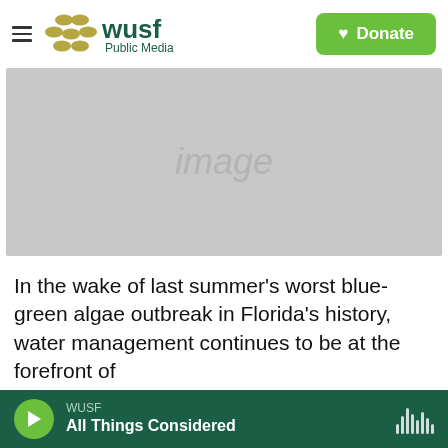WUSF Public Media — Donate
[Figure (photo): Image placeholder (gray rectangle with 'image' text watermark)]
In the wake of last summer's worst blue-green algae outbreak in Florida's history, water management continues to be at the forefront of conversation in Florida. Now the state's newly
WUSF — All Things Considered